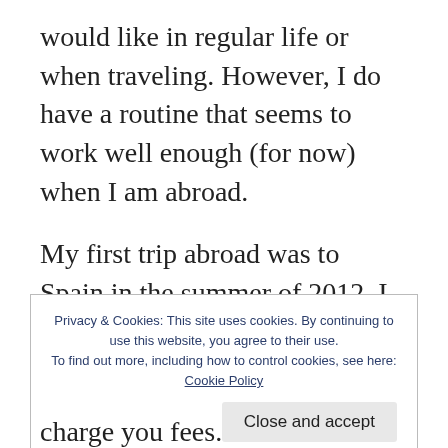would like in regular life or when traveling. However, I do have a routine that seems to work well enough (for now) when I am abroad.
My first trip abroad was to Spain in the summer of 2012. I was fresh out of high school traveling with my Spanish class. I took the advice of my teacher without questioning. Although, I did go against her advice and exchange some of my cash at the airport in Chicago before arriving in Madrid. That was big
Privacy & Cookies: This site uses cookies. By continuing to use this website, you agree to their use.
To find out more, including how to control cookies, see here: Cookie Policy
charge you fees.